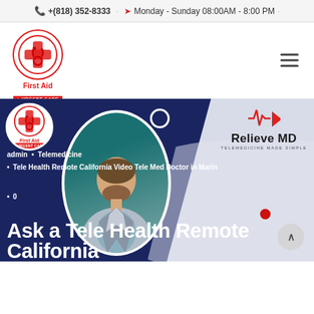+(818) 352-8333 · Monday - Sunday 08:00AM - 8:00 PM ·
[Figure (logo): First Aid Urgent Care logo with red cross and stethoscope icon in circle]
[Figure (screenshot): Hero banner with dark blue background, doctor image in circle, Relieve MD telemedicine branding on right]
admin • Telemedicine
Tele Health Remote California Video Tele Med Doctor in Marin
0
Ask a Tele Health Remote California